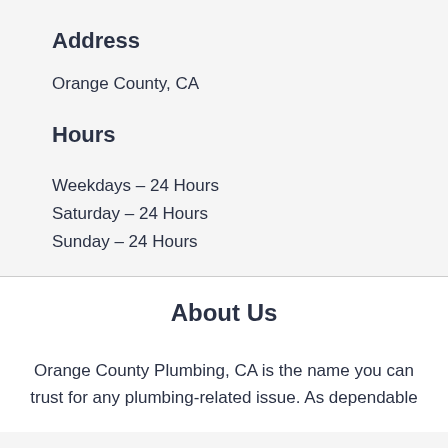Address
Orange County, CA
Hours
Weekdays – 24 Hours
Saturday – 24 Hours
Sunday – 24 Hours
About Us
Orange County Plumbing, CA is the name you can trust for any plumbing-related issue. As dependable